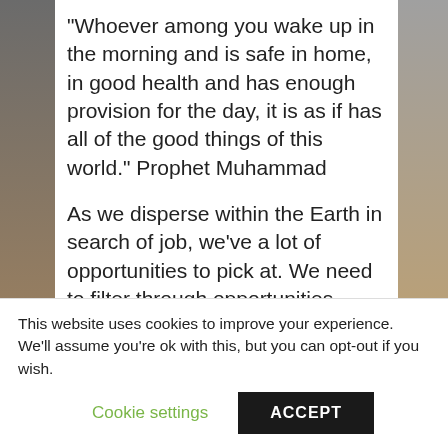“Whoever among you wake up in the morning and is safe in home, in good health and has enough provision for the day, it is as if has all of the good things of this world.” Prophet Muhammad
As we disperse within the Earth in search of job, we’ve a lot of opportunities to pick at. We need to filter through opportunities based on our skills and strive for the best.
■
This website uses cookies to improve your experience. We’ll assume you’re ok with this, but you can opt-out if you wish.
Cookie settings
ACCEPT